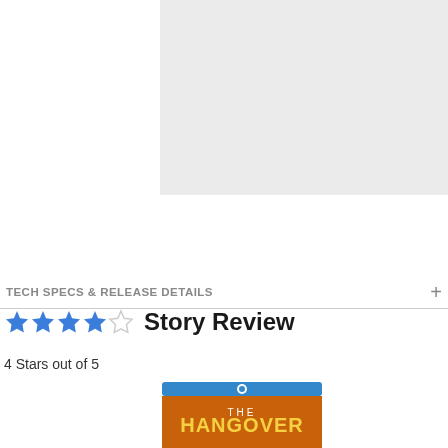[Figure (photo): Light gray rectangular image placeholder area]
TECH SPECS & RELEASE DETAILS
★★★★☆ Story Review
4 Stars out of 5
[Figure (photo): Blu-ray disc cover for The Hangover]